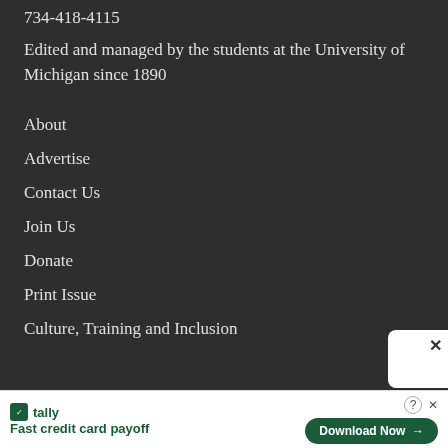734-418-4115
Edited and managed by the students at the University of Michigan since 1890
About
Advertise
Contact Us
Join Us
Donate
Print Issue
Culture, Training and Inclusion
[Figure (other): Advertisement: Tally app - Fast credit card payoff, Download Now button]